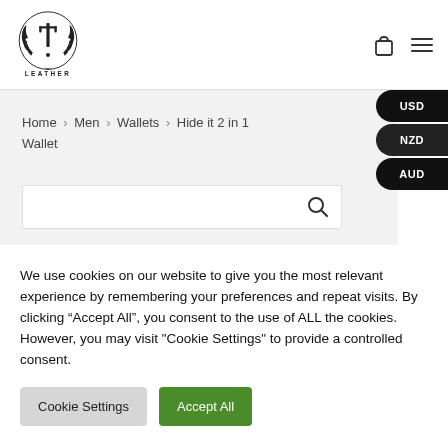[Figure (logo): IH Leather brand logo with laurel wreath circular emblem and text LEATHER below]
[Figure (other): Shopping bag icon and hamburger menu icon in the header]
Home > Men > Wallets > Hide it 2 in 1 Wallet
[Figure (other): Search bar with magnifying glass icon]
USD NZD AUD currency selector pills on right edge
We use cookies on our website to give you the most relevant experience by remembering your preferences and repeat visits. By clicking “Accept All”, you consent to the use of ALL the cookies. However, you may visit "Cookie Settings" to provide a controlled consent.
Cookie Settings   Accept All